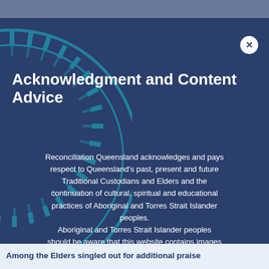Acknowledgment and Content Advice
Reconciliation Queensland acknowledges and pays respect to Queensland's past, present and future Traditional Custodians and Elders and the continuation of cultural, spiritual and educational practices of Aboriginal and Torres Strait Islander peoples.
Aboriginal and Torres Strait Islander peoples should be aware that this website contains images or names of people who have passed away.
Among the Elders singled out for additional praise